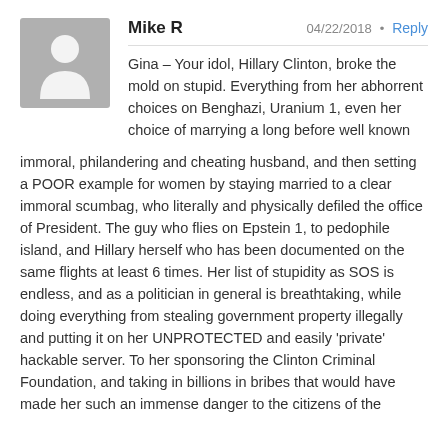Mike R  04/22/2018  Reply
Gina – Your idol, Hillary Clinton, broke the mold on stupid. Everything from her abhorrent choices on Benghazi, Uranium 1, even her choice of marrying a long before well known immoral, philandering and cheating husband, and then setting a POOR example for women by staying married to a clear immoral scumbag, who literally and physically defiled the office of President. The guy who flies on Epstein 1, to pedophile island, and Hillary herself who has been documented on the same flights at least 6 times. Her list of stupidity as SOS is endless, and as a politician in general is breathtaking, while doing everything from stealing government property illegally and putting it on her UNPROTECTED and easily 'private' hackable server. To her sponsoring the Clinton Criminal Foundation, and taking in billions in bribes that would have made her such an immense danger to the citizens of the